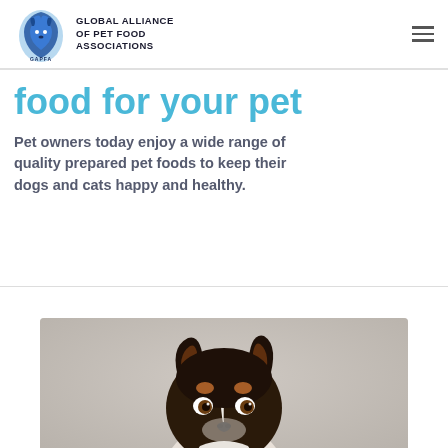GLOBAL ALLIANCE OF PET FOOD ASSOCIATIONS
food for your pet
Pet owners today enjoy a wide range of quality prepared pet foods to keep their dogs and cats happy and healthy.
[Figure (photo): Close-up photo of a Border Collie dog looking at the camera with brown and white fur, alert ears, and expressive eyes against a blurred grey background.]